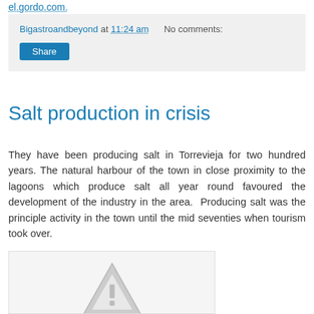el.gordo.com.
Bigastroandbeyond at 11:24 am   No comments:
Share
Salt production in crisis
They have been producing salt in Torrevieja for two hundred years. The natural harbour of the town in close proximity to the lagoons which produce salt all year round favoured the development of the industry in the area.  Producing salt was the principle activity in the town until the mid seventies when tourism took over.
[Figure (photo): Image placeholder with warning/broken image triangle icon on light grey background]